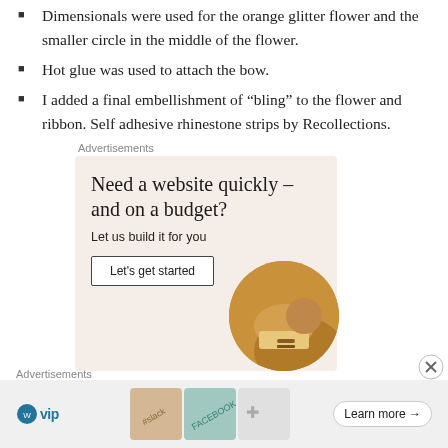Dimensionals were used for the orange glitter flower and the smaller circle in the middle of the flower.
Hot glue was used to attach the bow.
I added a final embellishment of “bling” to the flower and ribbon. Self adhesive rhinestone strips by Recollections.
Advertisements
[Figure (illustration): Advertisement box with beige/pink background. Headline: 'Need a website quickly – and on a budget?' Subtext: 'Let us build it for you'. Button: 'Let's get started'. Circular photo of person's hands working on paper.]
Advertisements
[Figure (illustration): WordPress VIP logo advertisement banner with social media platform cards (Slack, Facebook) and a 'Learn more →' button on a light grey background.]